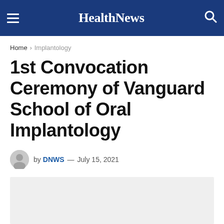HealthNews
Home > Implantology
1st Convocation Ceremony of Vanguard School of Oral Implantology
by DNWS — July 15, 2021
[Figure (photo): Article image placeholder, light gray background]